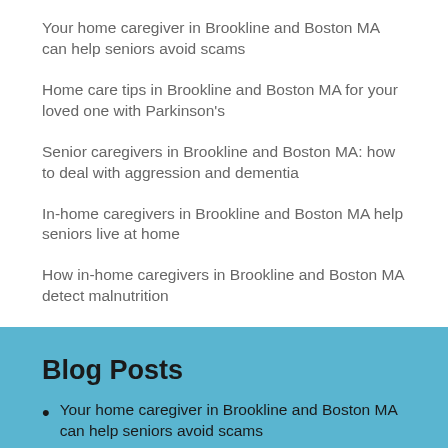Your home caregiver in Brookline and Boston MA can help seniors avoid scams
Home care tips in Brookline and Boston MA for your loved one with Parkinson's
Senior caregivers in Brookline and Boston MA: how to deal with aggression and dementia
In-home caregivers in Brookline and Boston MA help seniors live at home
How in-home caregivers in Brookline and Boston MA detect malnutrition
Blog Posts
Your home caregiver in Brookline and Boston MA can help seniors avoid scams